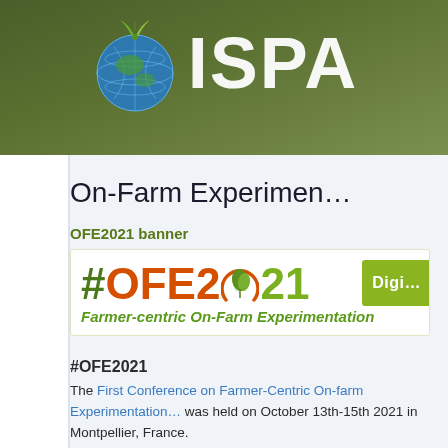[Figure (logo): ISPA organization logo with globe icon and ISPA text on dark olive/green background banner]
On-Farm Experimen…
OFE2021 banner
[Figure (logo): #OFE2021 banner logo with Farmer-centric On-Farm Experimentation tagline and Digi… button]
#OFE2021
The First Conference on Farmer-Centric On-farm Experimentation was held on October 13th-15th 2021 in Montpellier, France.
Purpose